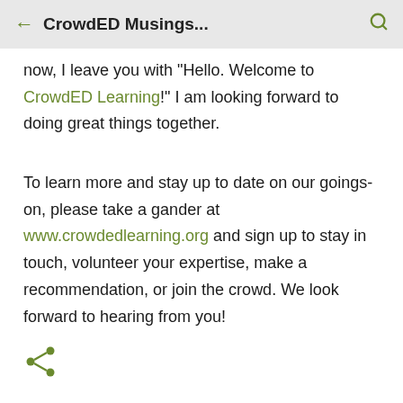CrowdED Musings...
now, I leave you with "Hello. Welcome to CrowdED Learning!" I am looking forward to doing great things together.
To learn more and stay up to date on our goings-on, please take a gander at www.crowdedlearning.org and sign up to stay in touch, volunteer your expertise, make a recommendation, or join the crowd. We look forward to hearing from you!